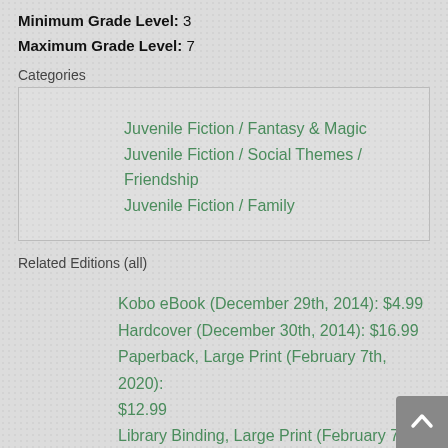Minimum Grade Level: 3
Maximum Grade Level: 7
Categories
Juvenile Fiction / Fantasy & Magic
Juvenile Fiction / Social Themes / Friendship
Juvenile Fiction / Family
Related Editions (all)
Kobo eBook (December 29th, 2014): $4.99
Hardcover (December 30th, 2014): $16.99
Paperback, Large Print (February 7th, 2020): $12.99
Library Binding, Large Print (February 7th, 2020): $22.99